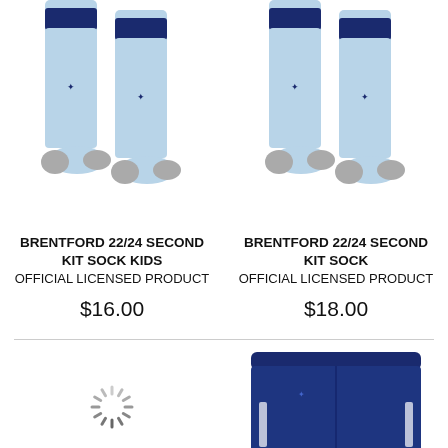[Figure (photo): Two light blue Umbro football socks with navy band at top and grey toe/heel area — kids version]
BRENTFORD 22/24 SECOND KIT SOCK KIDS
Official Licensed Product
$16.00
[Figure (photo): Two light blue Umbro football socks with navy band at top and grey toe/heel area — adult version]
BRENTFORD 22/24 SECOND KIT SOCK
Official Licensed Product
$18.00
[Figure (photo): Loading spinner icon (circular dashed lines radiating outward)]
[Figure (photo): Navy blue Umbro football shorts with white stripe detail and elastic waistband]